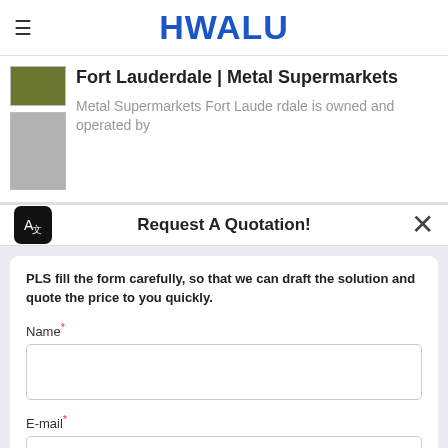HWALU
[Figure (screenshot): Search result card showing 'Fort Lauderdale | Metal Supermarkets' with olive and gray thumbnail images, and description text 'Metal Supermarkets Fort Lauderdale is owned and operated by']
Request A Quotation!
PLS fill the form carefully, so that we can draft the solution and quote the price to you quickly.
Name*
E-mail*